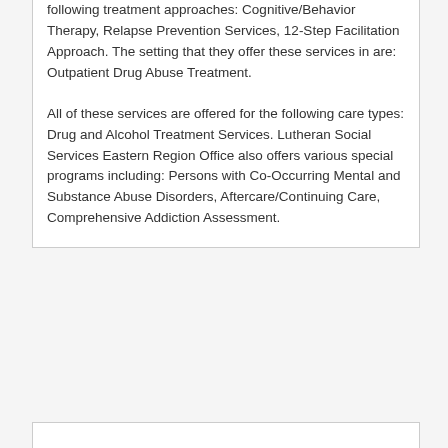following treatment approaches: Cognitive/Behavior Therapy, Relapse Prevention Services, 12-Step Facilitation Approach. The setting that they offer these services in are: Outpatient Drug Abuse Treatment.
All of these services are offered for the following care types: Drug and Alcohol Treatment Services. Lutheran Social Services Eastern Region Office also offers various special programs including: Persons with Co-Occurring Mental and Substance Abuse Disorders, Aftercare/Continuing Care, Comprehensive Addiction Assessment.